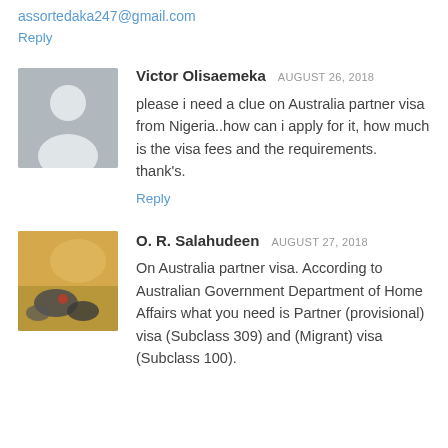assortedaka247@gmail.com
Reply
Victor Olisaemeka  AUGUST 26, 2018
please i need a clue on Australia partner visa from Nigeria..how can i apply for it, how much is the visa fees and the requirements.
thank's.
Reply
O. R. Salahudeen  AUGUST 27, 2018
On Australia partner visa. According to Australian Government Department of Home Affairs what you need is Partner (provisional) visa (Subclass 309) and (Migrant) visa (Subclass 100).